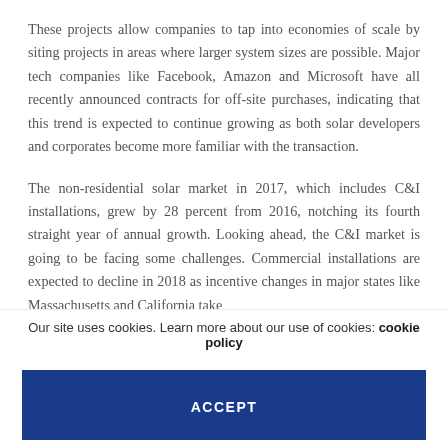These projects allow companies to tap into economies of scale by siting projects in areas where larger system sizes are possible. Major tech companies like Facebook, Amazon and Microsoft have all recently announced contracts for off-site purchases, indicating that this trend is expected to continue growing as both solar developers and corporates become more familiar with the transaction.
The non-residential solar market in 2017, which includes C&I installations, grew by 28 percent from 2016, notching its fourth straight year of annual growth. Looking ahead, the C&I market is going to be facing some challenges. Commercial installations are expected to decline in 2018 as incentive changes in major states like Massachusetts and California take
Our site uses cookies. Learn more about our use of cookies: cookie policy
ACCEPT